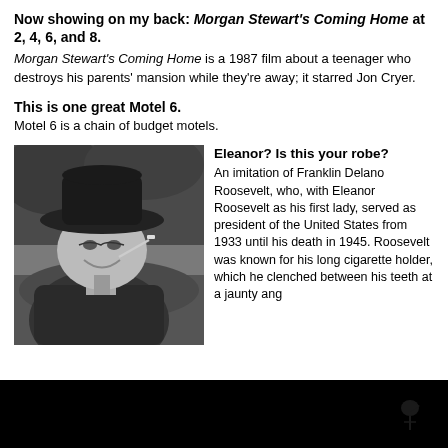Now showing on my back: Morgan Stewart's Coming Home at 2, 4, 6, and 8. Morgan Stewart's Coming Home is a 1987 film about a teenager who destroys his parents' mansion while they're away; it starred Jon Cryer.
This is one great Motel 6. Motel 6 is a chain of budget motels.
[Figure (photo): Black and white photo of Franklin Delano Roosevelt smiling, wearing a wide-brimmed hat and holding a cigarette holder in his mouth, seated outdoors.]
Eleanor? Is this your robe? An imitation of Franklin Delano Roosevelt, who, with Eleanor Roosevelt as his first lady, served as president of the United States from 1933 until his death in 1945. Roosevelt was known for his long cigarette holder, which he clenched between his teeth at a jaunty ang
[Figure (illustration): Silhouette of movie theater audience heads at the bottom of the page, with a small bird/puppet silhouette visible on the right side.]